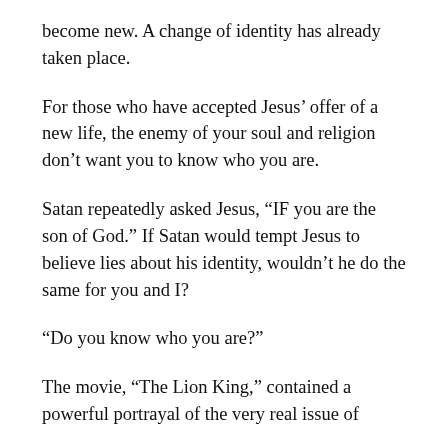become new. A change of identity has already taken place.
For those who have accepted Jesus’ offer of a new life, the enemy of your soul and religion don’t want you to know who you are.
Satan repeatedly asked Jesus, “IF you are the son of God.” If Satan would tempt Jesus to believe lies about his identity, wouldn’t he do the same for you and I?
“Do you know who you are?”
The movie, “The Lion King,” contained a powerful portrayal of the very real issue of identity loss, as well as a powerful depiction of